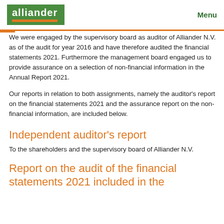alliander | Menu
We were engaged by the supervisory board as auditor of Alliander N.V. as of the audit for year 2016 and have therefore audited the financial statements 2021. Furthermore the management board engaged us to provide assurance on a selection of non-financial information in the Annual Report 2021.
Our reports in relation to both assignments, namely the auditor's report on the financial statements 2021 and the assurance report on the non-financial information, are included below.
Independent auditor's report
To the shareholders and the supervisory board of Alliander N.V.
Report on the audit of the financial statements 2021 included in the